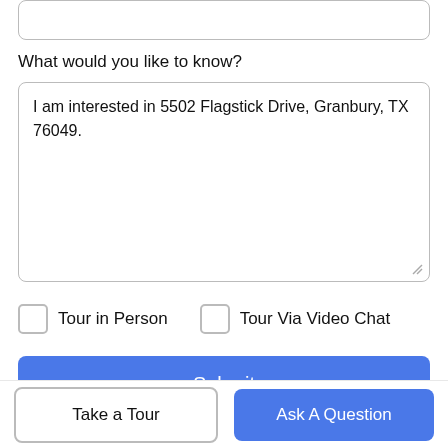What would you like to know?
I am interested in 5502 Flagstick Drive, Granbury, TX 76049.
Tour in Person
Tour Via Video Chat
Submit
Disclaimer: By entering your information and submitting this form, you agree to our Terms of Use and Privacy Policy and that you may be contacted by
Take a Tour
Ask A Question